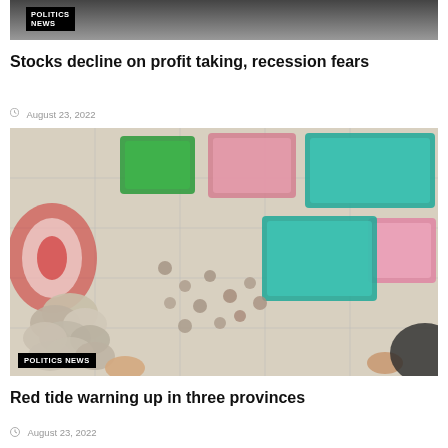[Figure (photo): Partially visible news article image at top with POLITICS NEWS badge overlay]
POLITICS NEWS
Stocks decline on profit taking, recession fears
August 23, 2022
[Figure (photo): Overhead view of shellfish (clams/cockles) in colorful baskets and spread on a tiled surface, with a child's hands visible. POLITICS NEWS badge overlay.]
POLITICS NEWS
Red tide warning up in three provinces
August 23, 2022